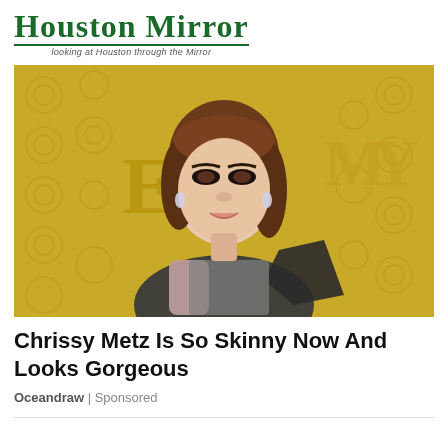[Figure (logo): Houston Mirror newspaper logo with green serif text and tagline 'looking at Houston through the Mirror']
[Figure (photo): Chrissy Metz posing at the Emmy Awards in front of a gold Emmy backdrop, wearing a metallic/sequined outfit]
Chrissy Metz Is So Skinny Now And Looks Gorgeous
Oceandraw | Sponsored